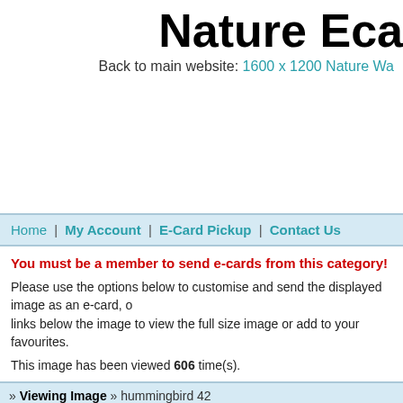Nature Eca
Back to main website: 1600 x 1200 Nature Wa
Home | My Account | E-Card Pickup | Contact Us
You must be a member to send e-cards from this category!
Please use the options below to customise and send the displayed image as an e-card, o links below the image to view the full size image or add to your favourites.
This image has been viewed 606 time(s).
» Viewing Image » hummingbird 42
To: [NAME]
[Figure (photo): A bird (likely Egyptian vulture) with white feathered head and yellow face, close-up portrait photo used as e-card stamp image]
YOUR MESSAGE HERE..